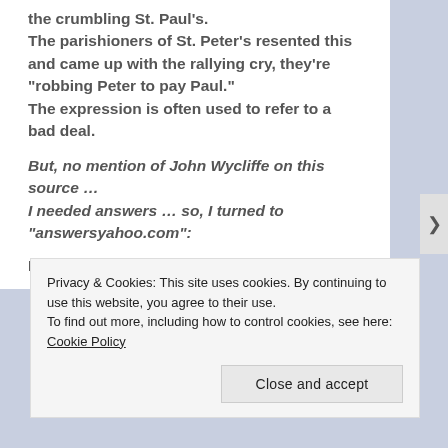the crumbling St. Paul's. The parishioners of St. Peter's resented this and came up with the rallying cry, they're "robbing Peter to pay Paul." The expression is often used to refer to a bad deal.
But, no mention of John Wycliffe on this source … I needed answers … so, I turned to "answersyahoo.com":
Resolved Question
Privacy & Cookies: This site uses cookies. By continuing to use this website, you agree to their use. To find out more, including how to control cookies, see here: Cookie Policy